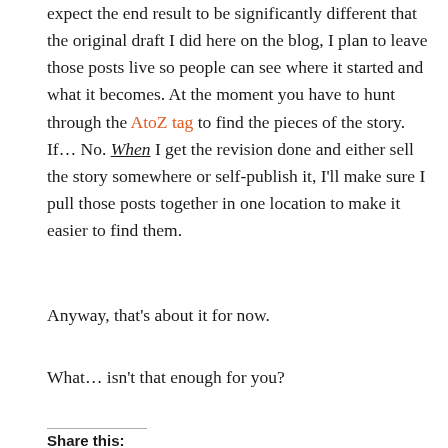expect the end result to be significantly different that the original draft I did here on the blog, I plan to leave those posts live so people can see where it started and what it becomes. At the moment you have to hunt through the AtoZ tag to find the pieces of the story. If... No. When I get the revision done and either sell the story somewhere or self-publish it, I'll make sure I pull those posts together in one location to make it easier to find them.
Anyway, that's about it for now.
What… isn't that enough for you?
Share this: